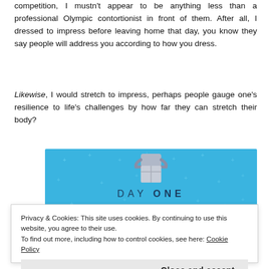competition, I mustn't appear to be anything less than a professional Olympic contortionist in front of them. After all, I dressed to impress before leaving home that day, you know they say people will address you according to how you dress.
Likewise, I would stretch to impress, perhaps people gauge one's resilience to life's challenges by how far they can stretch their body?
[Figure (illustration): Day One journaling app advertisement with blue background, sparkle dots, figure holding a box, text 'DAY ONE The only journaling app you'll ever need.' and 'Get the app' button.]
Privacy & Cookies: This site uses cookies. By continuing to use this website, you agree to their use.
To find out more, including how to control cookies, see here: Cookie Policy

Close and accept